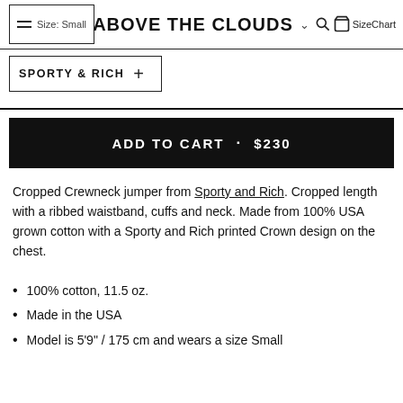Size: Small   ABOVE THE CLOUDS   SizeChart
SPORTY & RICH +
ADD TO CART · $230
Cropped Crewneck jumper from Sporty and Rich. Cropped length with a ribbed waistband, cuffs and neck. Made from 100% USA grown cotton with a Sporty and Rich printed Crown design on the chest.
100% cotton, 11.5 oz.
Made in the USA
Model is 5'9" / 175 cm and wears a size Small